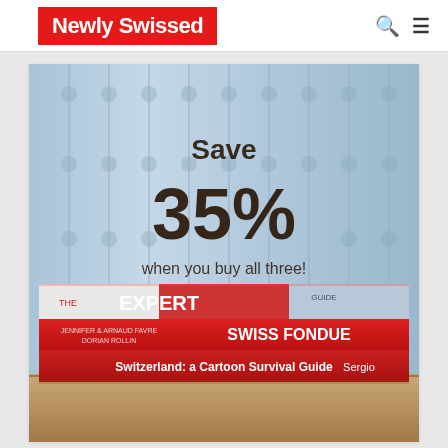Newly Swissed
[Figure (photo): Promotional image showing three stacked books: The Expert Guide, Swiss Fondue, and Switzerland: a Cartoon Survival Guide. Text overlay reads 'Save 35% when you buy all three!']